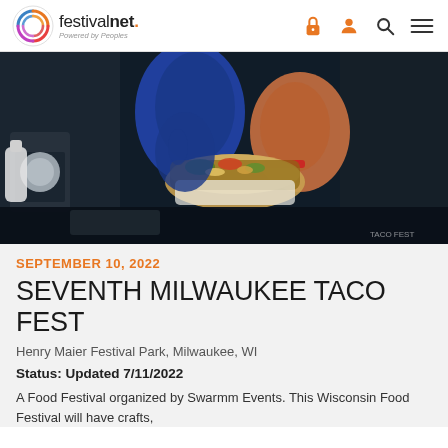festivalnet. Powered by Peoples
[Figure (photo): Close-up photo of a person in blue gloves holding a loaded taco/burrito over a food preparation surface at night]
SEPTEMBER 10, 2022
SEVENTH MILWAUKEE TACO FEST
Henry Maier Festival Park, Milwaukee, WI
Status: Updated 7/11/2022
A Food Festival organized by Swarmm Events. This Wisconsin Food Festival will have crafts,